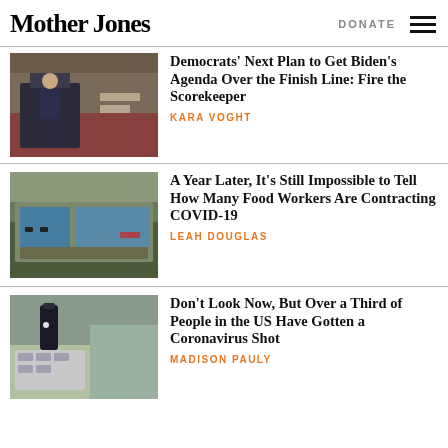Mother Jones | DONATE
[Figure (photo): Man in suit speaking at a hearing table]
Democrats' Next Plan to Get Biden's Agenda Over the Finish Line: Fire the Scorekeeper
KARA VOGHT
[Figure (photo): Aerial view of large building under construction with scaffolding]
A Year Later, It's Still Impossible to Tell How Many Food Workers Are Contracting COVID-19
LEAH DOUGLAS
[Figure (photo): Gloved hand filling syringes with vaccine from vials]
Don't Look Now, But Over a Third of People in the US Have Gotten a Coronavirus Shot
MADISON PAULY